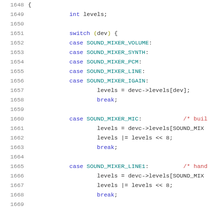[Figure (screenshot): Source code listing showing C code lines 1648-1669 with syntax highlighting. Keywords in blue, identifiers in dark, comments in red. Code shows a switch statement handling SOUND_MIXER cases.]